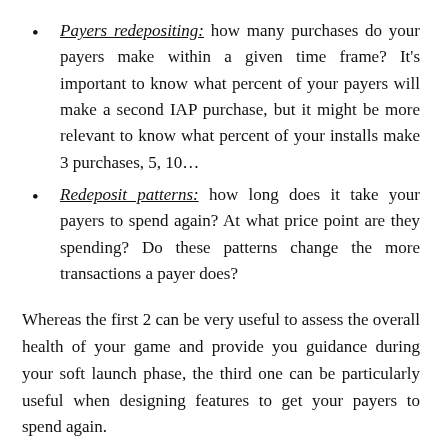Payers redepositing: how many purchases do your payers make within a given time frame? It's important to know what percent of your payers will make a second IAP purchase, but it might be more relevant to know what percent of your installs make 3 purchases, 5, 10...
Redeposit patterns: how long does it take your payers to spend again? At what price point are they spending? Do these patterns change the more transactions a payer does?
Whereas the first 2 can be very useful to assess the overall health of your game and provide you guidance during your soft launch phase, the third one can be particularly useful when designing features to get your payers to spend again.